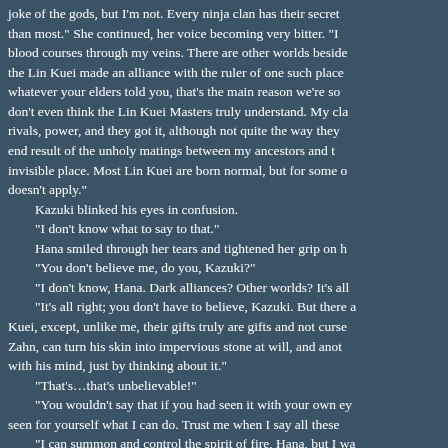joke of the gods, but I'm not. Every ninja clan has their secret than most." She continued, her voice becoming very bitter. "I blood courses through my veins. There are other worlds besides the Lin Kuei made an alliance with the ruler of one such place whatever your elders told you, that's the main reason we're so don't even think the Lin Kuei Masters truly understand. My clan rivals, power, and they got it, although not quite the way they end result of the unholy matings between my ancestors and the invisible place. Most Lin Kuei are born normal, but for some doesn't apply."
	Kazuki blinked his eyes in confusion.
	"I don't know what to say to that."
	Hana smiled through her tears and tightened her grip on h
	"You don't believe me, do you, Kazuki?"
	"I don't know, Hana. Dark alliances? Other worlds? It's all
	"It's all right; you don't have to believe, Kazuki. But there are Kuei, except, unlike me, their gifts truly are gifts and not curse Zahn, can turn his skin into impervious stone at will, and anot with his mind, just by thinking about it."
	"That's...that's unbelievable!"
	"You wouldn't say that if you had seen it with your own eyes seen for yourself what I can do. Trust me when I say all these
	"I can summon and control the spirit of fire, Hana, but I was work and train at it for most of my life to master it. It's an ancient elder brother, Sogetsu, has done the same, except with the wind